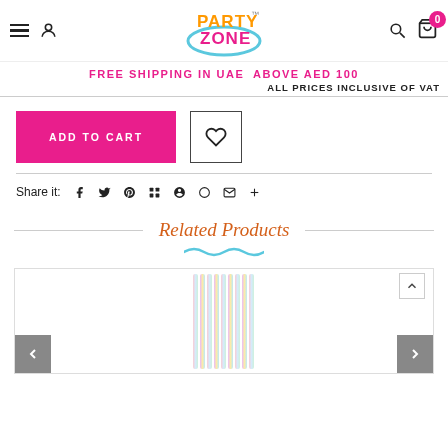Party Zone header with navigation: menu, user, logo, search, cart (0)
FREE SHIPPING IN UAE ABOVE AED 100
ALL PRICES INCLUSIVE OF VAT
ADD TO CART
Share it:
Related Products
[Figure (photo): Iridescent/holographic striped party straws product image inside a bordered slider container]